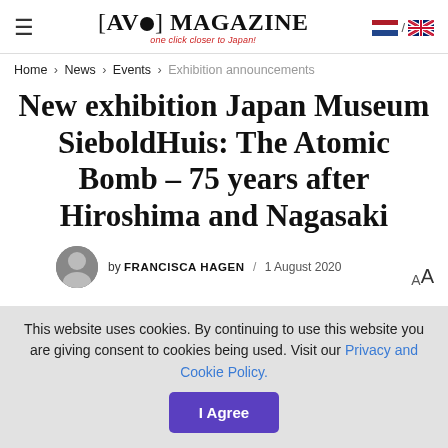[AVO] MAGAZINE one click closer to Japan!
Home > News > Events > Exhibition announcements
New exhibition Japan Museum SieboldHuis: The Atomic Bomb – 75 years after Hiroshima and Nagasaki
by FRANCISCA HAGEN / 1 August 2020
This website uses cookies. By continuing to use this website you are giving consent to cookies being used. Visit our Privacy and Cookie Policy. I Agree